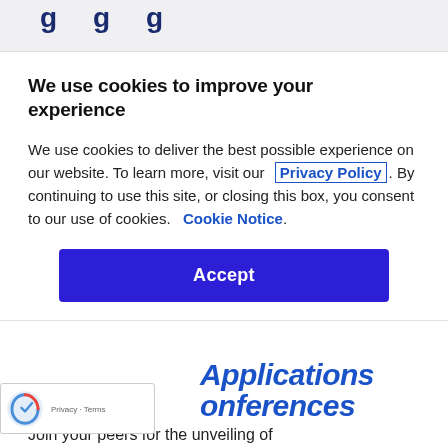Applications Conferences
We use cookies to improve your experience
We use cookies to deliver the best possible experience on our website. To learn more, visit our  Privacy Policy. By continuing to use this site, or closing this box, you consent to our use of cookies.  Cookie Notice.
Accept
Applications Conferences
Join your peers for the unveiling of